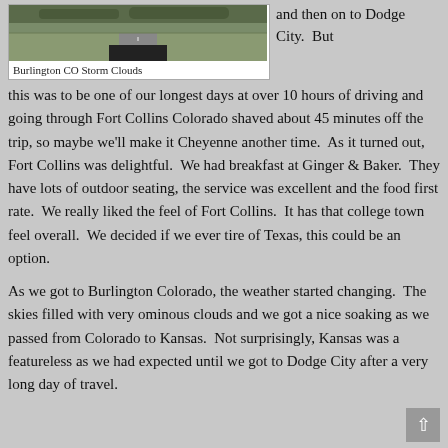[Figure (photo): Road photo showing a highway stretching into the distance under a cloudy sky, taken from inside or behind a vehicle, with flat green plains on either side. A dark rectangular shape is visible at the bottom center of the image.]
Burlington CO Storm Clouds
and then on to Dodge City.  But this was to be one of our longest days at over 10 hours of driving and going through Fort Collins Colorado shaved about 45 minutes off the trip, so maybe we'll make it Cheyenne another time.  As it turned out, Fort Collins was delightful.  We had breakfast at Ginger & Baker.  They have lots of outdoor seating, the service was excellent and the food first rate.  We really liked the feel of Fort Collins.  It has that college town feel overall.  We decided if we ever tire of Texas, this could be an option.
As we got to Burlington Colorado, the weather started changing.  The skies filled with very ominous clouds and we got a nice soaking as we passed from Colorado to Kansas.  Not surprisingly, Kansas was a featureless as we had expected until we got to Dodge City after a very long day of travel.